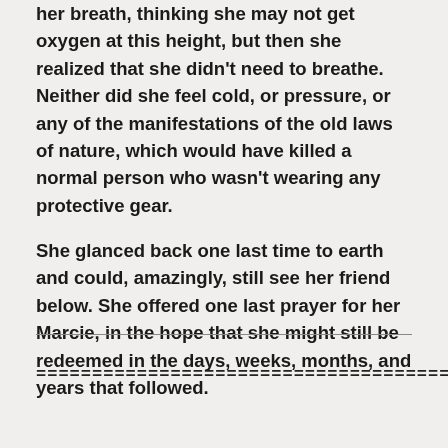her breath, thinking she may not get oxygen at this height, but then she realized that she didn't need to breathe. Neither did she feel cold, or pressure, or any of the manifestations of the old laws of nature, which would have killed a normal person who wasn't wearing any protective gear.
She glanced back one last time to earth and could, amazingly, still see her friend below. She offered one last prayer for her Marcie, in the hope that she might still be redeemed in the days, weeks, months, and years that followed.
================================================